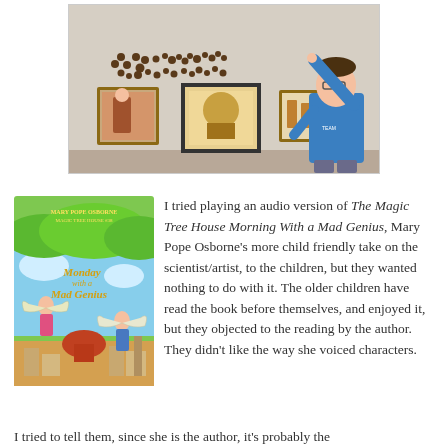[Figure (photo): A child in a blue shirt pointing at small figurines arranged on a white wall above three framed pictures. The room appears to be a home or classroom setting.]
[Figure (illustration): Book cover of 'Monday with a Mad Genius' from the Magic Tree House series by Mary Pope Osborne, showing two children with wings flying over a city with a dome.]
I tried playing an audio version of The Magic Tree House Morning With a Mad Genius, Mary Pope Osborne's more child friendly take on the scientist/artist, to the children, but they wanted nothing to do with it. The older children have read the book before themselves, and enjoyed it, but they objected to the reading by the author. They didn't like the way she voiced characters.
I tried to tell them, since she is the author, it's probably the